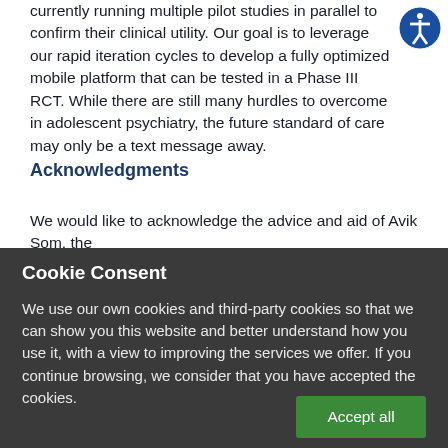currently running multiple pilot studies in parallel to confirm their clinical utility. Our goal is to leverage our rapid iteration cycles to develop a fully optimized mobile platform that can be tested in a Phase III RCT. While there are still many hurdles to overcome in adolescent psychiatry, the future standard of care may only be a text message away.
Acknowledgments
We would like to acknowledge the advice and aid of Avik Som, the
Cookie Consent
We use our own cookies and third-party cookies so that we can show you this website and better understand how you use it, with a view to improving the services we offer. If you continue browsing, we consider that you have accepted the cookies.